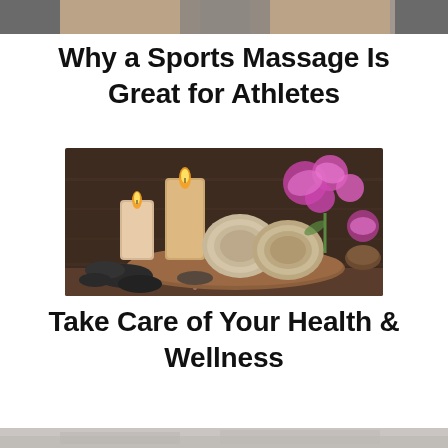[Figure (photo): Cropped top portion of a photo showing a person with arms crossed, partially visible]
Why a Sports Massage Is Great for Athletes
[Figure (photo): Spa wellness photo featuring lit candles, rolled towels on a wooden board, pink orchid flowers, hot stones, and bath salts on a dark wooden background]
Take Care of Your Health & Wellness
[Figure (photo): Bottom cropped strip of another photo, partially visible]